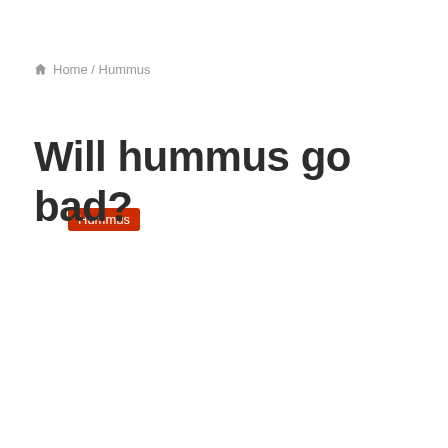Home / Hummus
Hummus
Will hummus go bad?